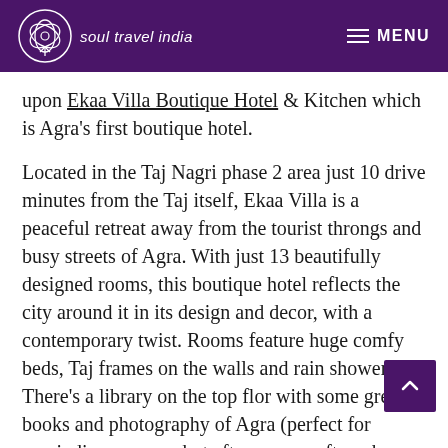soul travel india   MENU
upon Ekaa Villa Boutique Hotel & Kitchen which is Agra's first boutique hotel.
Located in the Taj Nagri phase 2 area just 10 drive minutes from the Taj itself, Ekaa Villa is a peaceful retreat away from the tourist throngs and busy streets of Agra. With just 13 beautifully designed rooms, this boutique hotel reflects the city around it in its design and decor, with a contemporary twist. Rooms feature huge comfy beds, Taj frames on the walls and rain showers. There's a library on the top flor with some great books and photography of Agra (perfect for unwinding on a hot afternoon or after a busy day), and the